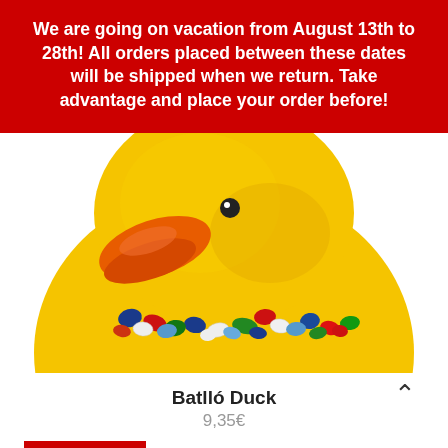We are going on vacation from August 13th to 28th! All orders placed between these dates will be shipped when we return. Take advantage and place your order before!
[Figure (photo): Close-up photo of a yellow rubber duck (Batlló Duck) with an orange beak and colorful mosaic tile pattern around its body, on a white background.]
Batlló Duck
9,35€
Translate »